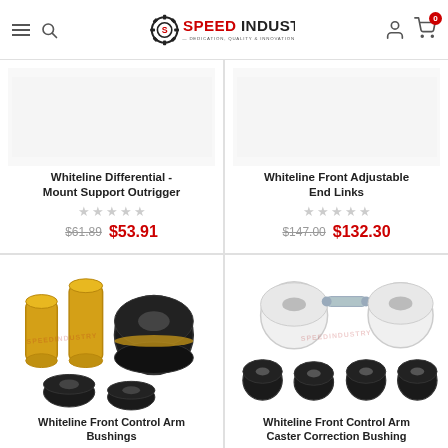Speed Industry - Dedication, Quality & Innovation
[Figure (photo): Whiteline Differential Mount Support Outrigger product — partial view at top]
Whiteline Differential - Mount Support Outrigger
★★★★★ (0 stars)
$61.89  $53.91
[Figure (photo): Whiteline Front Adjustable End Links product — partial view at top]
Whiteline Front Adjustable End Links
★★★★★ (0 stars)
$147.00  $132.30
[Figure (photo): Whiteline Front Control Arm Bushings — gold aluminum sleeves and black rubber bushings on white background with Speed Industry watermark]
Whiteline Front Control Arm Bushings
[Figure (photo): Whiteline Front Control Arm Caster Correction Bushing — white and black bushings set on white background with Speed Industry watermark]
Whiteline Front Control Arm Caster Correction Bushing